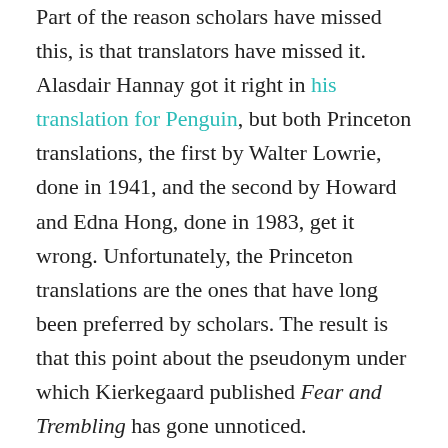Part of the reason scholars have missed this, is that translators have missed it. Alasdair Hannay got it right in his translation for Penguin, but both Princeton translations, the first by Walter Lowrie, done in 1941, and the second by Howard and Edna Hong, done in 1983, get it wrong. Unfortunately, the Princeton translations are the ones that have long been preferred by scholars. The result is that this point about the pseudonym under which Kierkegaard published Fear and Trembling has gone unnoticed.
Johannes de silentio is typically taken, as Kirsch does in his review, to mean John of